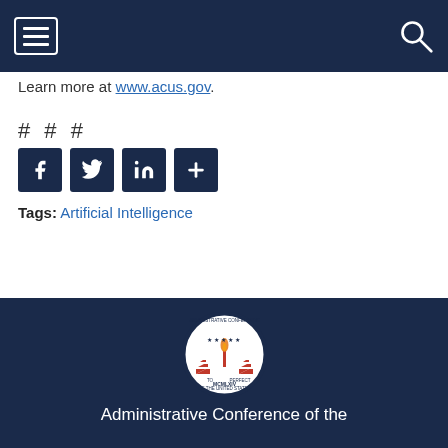[Navigation bar with hamburger menu and search icon]
Learn more at www.acus.gov.
# # #
[Figure (other): Social media share buttons: Facebook, Twitter, LinkedIn, and a plus/more button]
Tags: Artificial Intelligence
[Figure (logo): Seal of the Administrative Conference of the United States - MCMLXIV]
Administrative Conference of the